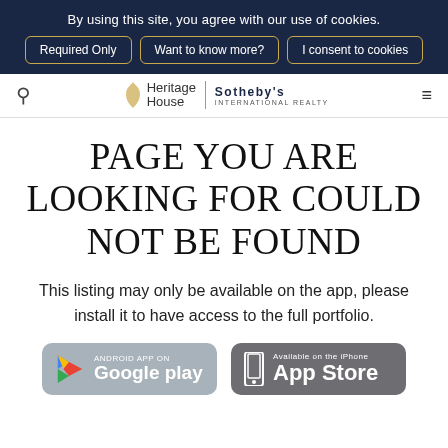By using this site, you agree with our use of cookies.
Required Only | Want to know more? | I consent to cookies
[Figure (logo): Heritage House Sotheby's International Realty logo with navigation icons]
PAGE YOU ARE LOOKING FOR COULD NOT BE FOUND
This listing may only be available on the app, please install it to have access to the full portfolio.
[Figure (screenshot): Android App on Google Play button]
[Figure (screenshot): Available on the iPhone App Store button]